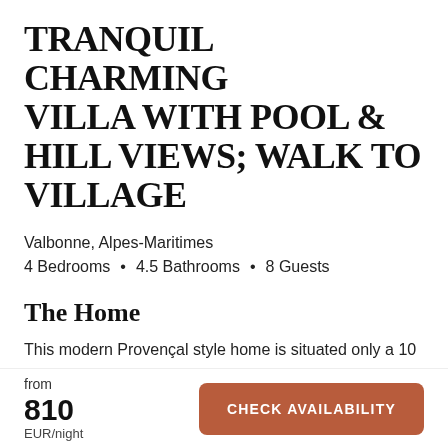TRANQUIL CHARMING VILLA WITH POOL & HILL VIEWS; WALK TO VILLAGE
Valbonne, Alpes-Maritimes
4 Bedrooms • 4.5 Bathrooms • 8 Guests
The Home
This modern Provençal style home is situated only a 10 minute walk from the beautiful village of Valbonne, near Mougins and Antibes. The property has been completely
from
810
EUR/night
CHECK AVAILABILITY